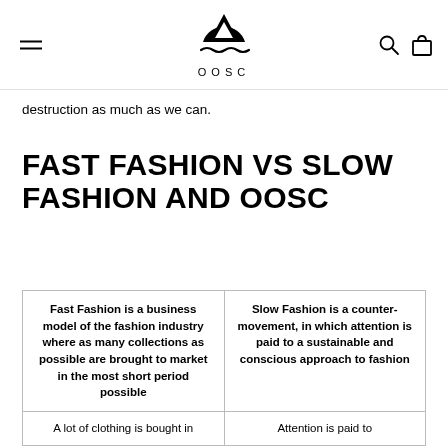OOSC
destruction as much as we can.
FAST FASHION VS SLOW FASHION AND OOSC
| Fast Fashion | Slow Fashion |
| --- | --- |
| Fast Fashion is a business model of the fashion industry where as many collections as possible are brought to market in the most short period possible | Slow Fashion is a counter-movement, in which attention is paid to a sustainable and conscious approach to fashion |
| A lot of clothing is bought in | Attention is paid to |